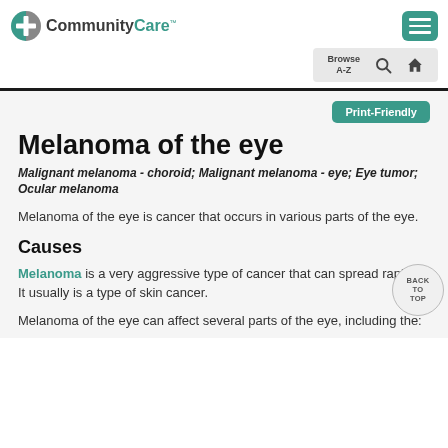CommunityCare
Melanoma of the eye
Malignant melanoma - choroid; Malignant melanoma - eye; Eye tumor; Ocular melanoma
Melanoma of the eye is cancer that occurs in various parts of the eye.
Causes
Melanoma is a very aggressive type of cancer that can spread rapidly. It usually is a type of skin cancer.
Melanoma of the eye can affect several parts of the eye, including the: